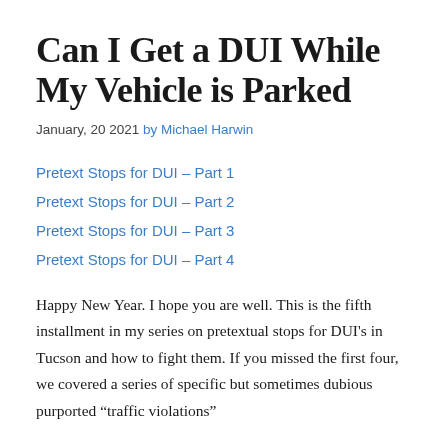Can I Get a DUI While My Vehicle is Parked
January, 20 2021 by Michael Harwin
Pretext Stops for DUI – Part 1
Pretext Stops for DUI – Part 2
Pretext Stops for DUI – Part 3
Pretext Stops for DUI – Part 4
Happy New Year. I hope you are well. This is the fifth installment in my series on pretextual stops for DUI's in Tucson and how to fight them. If you missed the first four, we covered a series of specific but sometimes dubious purported "traffic violations"